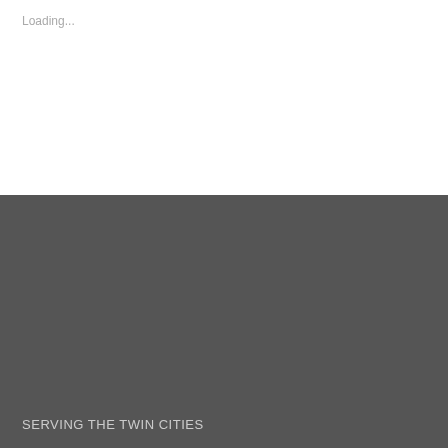Loading...
SERVING THE TWIN CITIES
Located in the North Metro
Minneapolis, MN
1-207-710-3212
FOLLOW US
[Figure (illustration): Facebook and Instagram social media icons (white circles with icons on dark gray background)]